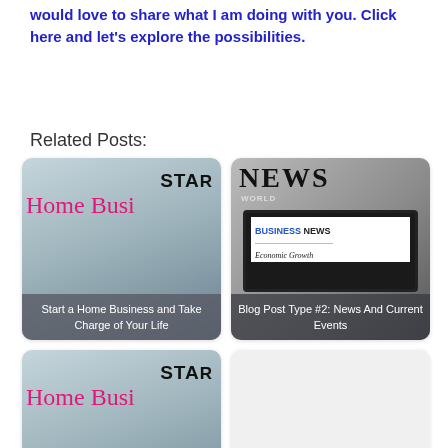would love to share what I am doing with you. Click here and let's explore the possibilities.
Related Posts:
[Figure (photo): Card image for 'Start a Home Business and Take Charge of Your Life' showing text overlay on a home business themed background]
[Figure (photo): Card image for 'Blog Post Type #2: News And Current Events' showing newspapers and a tablet with Business News]
[Figure (photo): Card image for 'Start a Home Business and Take Charge of Your Life' (duplicate/second instance)]
[Figure (photo): Card image for 'Leverage High Authority' (partial, bottom of page)]